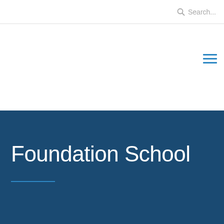Search...
[Figure (other): Hamburger menu icon with three horizontal blue lines]
Foundation School